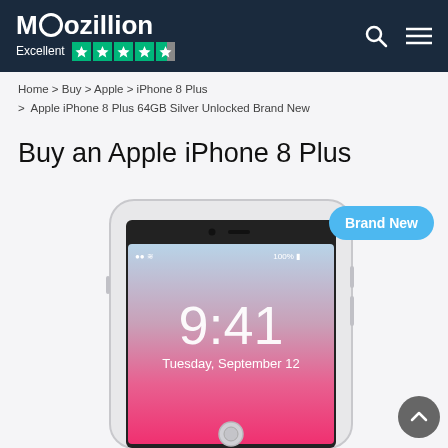Moozillion — Excellent (Trustpilot 4.5 stars)
Home > Buy > Apple > iPhone 8 Plus > Apple iPhone 8 Plus 64GB Silver Unlocked Brand New
Buy an Apple iPhone 8 Plus
[Figure (illustration): Apple iPhone 8 Plus shown in silver/white color with lock screen displaying 9:41, Tuesday, September 12, pink/rose wave wallpaper. A 'Brand New' badge in blue is overlaid top-right of the phone. A scroll-to-top arrow button is bottom-right.]